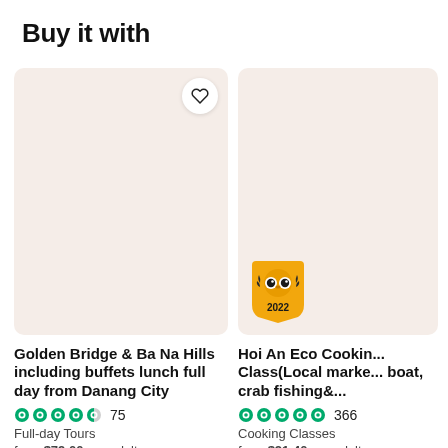Buy it with
[Figure (photo): Product card image placeholder with light pinkish-beige background, heart/wishlist button top right, for Golden Bridge & Ba Na Hills tour]
Golden Bridge & Ba Na Hills including buffets lunch full day from Danang City
●●●●◐ 75
Full-day Tours
from $79.00 per adult
[Figure (photo): Product card image placeholder with light pinkish-beige background and TripAdvisor 2022 Travelers' Choice badge bottom left, for Hoi An Eco Cooking Class]
Hoi An Eco Cooking Class(Local market, boat, crab fishing&...
●●●●● 366
Cooking Classes
from $21.40 per adult